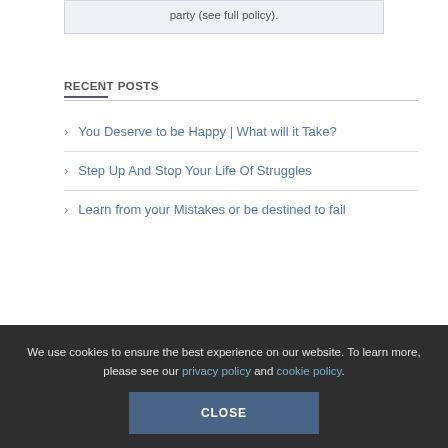party (see full policy).
RECENT POSTS
You Deserve to be Happy | What will it Take?
Step Up And Stop Your Life Of Struggles
Learn from your Mistakes or be destined to fail
We use cookies to ensure the best experience on our website. To learn more, please see our privacy policy and cookie policy.
CLOSE